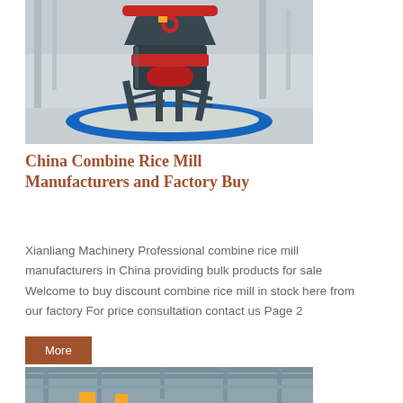[Figure (photo): Industrial combine rice mill machine — a large dark grey conical/cylindrical machine with red accents sitting on a metal frame over a circular blue base with grain material around it, inside a bright factory/warehouse.]
China Combine Rice Mill Manufacturers and Factory Buy
Xianliang Machinery Professional combine rice mill manufacturers in China providing bulk products for sale Welcome to buy discount combine rice mill in stock here from our factory For price consultation contact us Page 2
More
[Figure (photo): Interior of an industrial warehouse or factory building, showing structural steel beams and ceiling, partial yellow safety equipment visible at the bottom.]